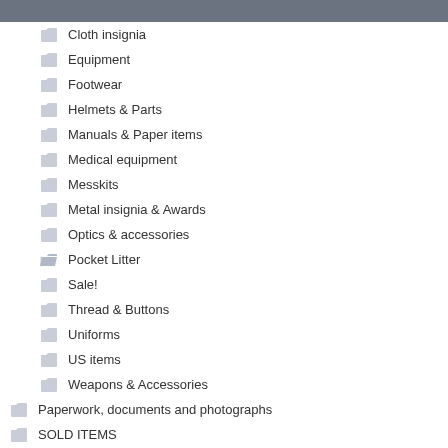Cloth insignia
Equipment
Footwear
Helmets & Parts
Manuals & Paper items
Medical equipment
Messkits
Metal insignia & Awards
Optics & accessories
Pocket Litter
Sale!
Thread & Buttons
Uniforms
US items
Weapons & Accessories
Paperwork, documents and photographs
SOLD ITEMS